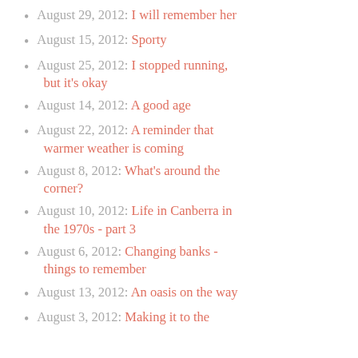August 29, 2012: I will remember her
August 15, 2012: Sporty
August 25, 2012: I stopped running, but it's okay
August 14, 2012: A good age
August 22, 2012: A reminder that warmer weather is coming
August 8, 2012: What's around the corner?
August 10, 2012: Life in Canberra in the 1970s - part 3
August 6, 2012: Changing banks - things to remember
August 13, 2012: An oasis on the way
August 3, 2012: Making it to the